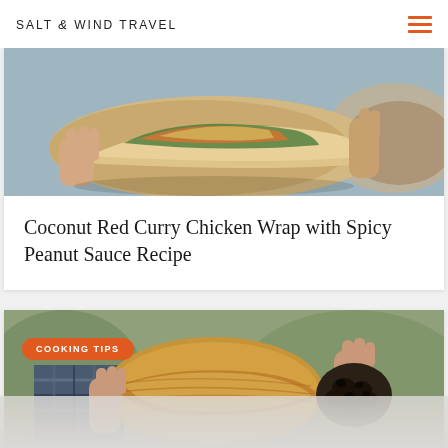SALT & WIND TRAVEL
[Figure (photo): Close-up photo of a wrap/burrito filled with chicken and vegetables, held in hands, with a blurred bowl visible in the background.]
Coconut Red Curry Chicken Wrap with Spicy Peanut Sauce Recipe
[Figure (photo): Person in a plaid flannel shirt holding a wicker basket and a dark truffle mushroom in their hand outdoors.]
COOKING TIPS